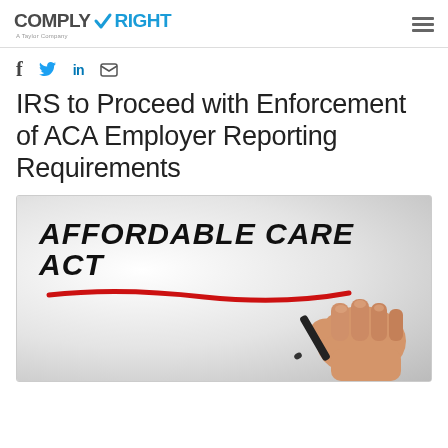ComplyRight — A Taylor Company
f  𝕏  in  ✉
IRS to Proceed with Enforcement of ACA Employer Reporting Requirements
[Figure (photo): Photo showing the text 'Affordable Care Act' written in large handwritten/brush style letters on a white/light gray surface, with a red underline drawn beneath it, and a hand holding a black marker pen visible in the lower right corner.]